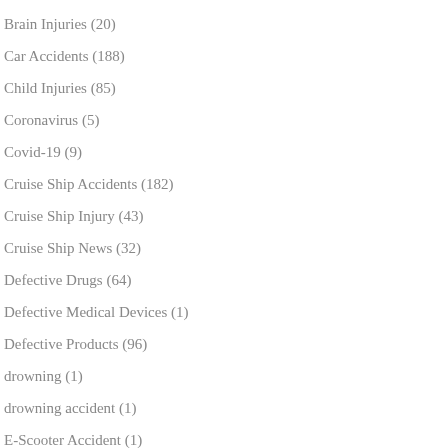Brain Injuries (20)
Car Accidents (188)
Child Injuries (85)
Coronavirus (5)
Covid-19 (9)
Cruise Ship Accidents (182)
Cruise Ship Injury (43)
Cruise Ship News (32)
Defective Drugs (64)
Defective Medical Devices (1)
Defective Products (96)
drowning (1)
drowning accident (1)
E-Scooter Accident (1)
Electric Scooter Injury (1)